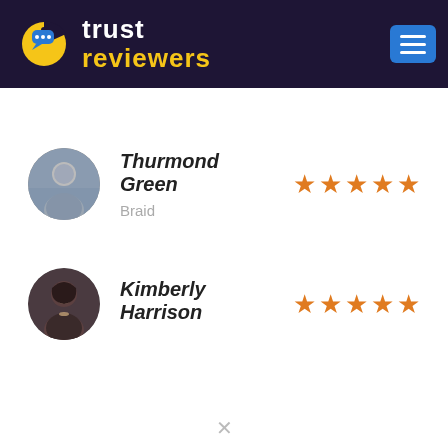[Figure (logo): Trust Reviewers logo with pac-man style icon on dark purple header background with blue hamburger menu button]
Thurmond Green — 5 stars — Braid
Kimberly Harrison — 5 stars